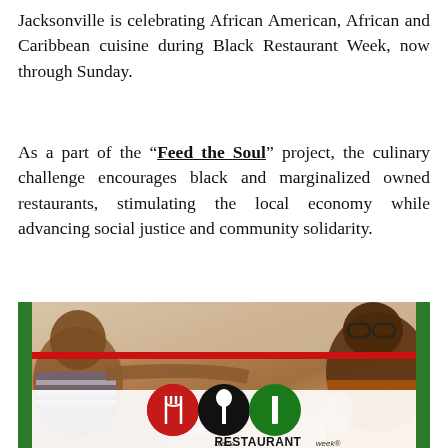Jacksonville is celebrating African American, African and Caribbean cuisine during Black Restaurant Week, now through Sunday.
As a part of the "Feed the Soul" project, the culinary challenge encourages black and marginalized owned restaurants, stimulating the local economy while advancing social justice and community solidarity.
[Figure (photo): A photo of people dining at a table, with a child reaching out to feed an older man wearing glasses. Overlaid with the Black Restaurant Week logo showing three circles (red with fork, black with spoon, green with knife) and text reading 'black RESTAURANT week'.]